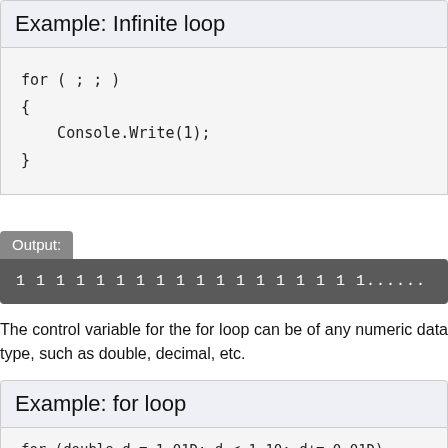Example: Infinite loop
for (  ;  ;  )
{
    Console.Write(1);
}
Output:
1 1 1 1 1 1 1 1 1 1 1 1 1 1 1 1 1 1......
The control variable for the for loop can be of any numeric data type, such as double, decimal, etc.
Example: for loop
for (double d = 1.01D; d < 1.10; d+= 0.01D)